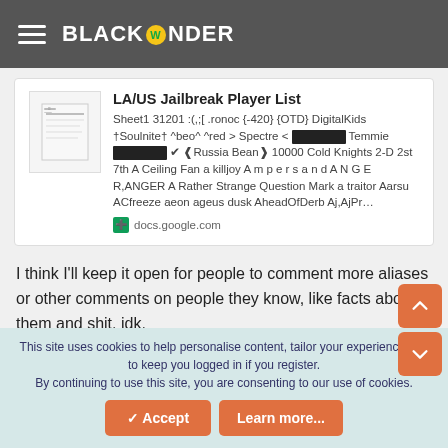BLACKWONDER
[Figure (screenshot): Link card for LA/US Jailbreak Player List Google Docs spreadsheet showing player names]
I think I'll keep it open for people to comment more aliases or other comments on people they know, like facts about them and shit, idk.
Anyways go crazy (waiting for people to shit on each
This site uses cookies to help personalise content, tailor your experience and to keep you logged in if you register. By continuing to use this site, you are consenting to our use of cookies.